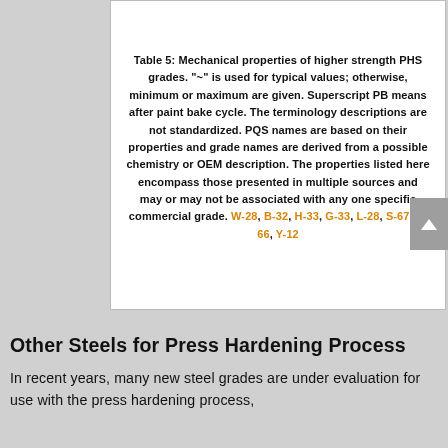[Figure (table-as-image): Partial top row of Table 5 showing column headers: grade (14MnSiV), 1300-1400/1500-1500 range, 2600-2100/1900-1970 range, ≥6/≥6.7, ≥45/≥50]
Table 5: Mechanical properties of higher strength PHS grades. "~" is used for typical values; otherwise, minimum or maximum are given. Superscript PB means after paint bake cycle. The terminology descriptions are not standardized. PQS names are based on their properties and grade names are derived from a possible chemistry or OEM description. The properties listed here encompass those presented in multiple sources and may or may not be associated with any one specific commercial grade. W-28, B-32, H-33, G-33, L-28, S-67, S-66, Y-12
Other Steels for Press Hardening Process
In recent years, many new steel grades are under evaluation for use with the press hardening process,